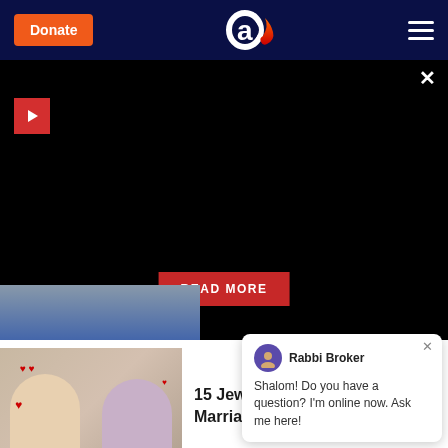Donate | Aish.com | Menu
[Figure (screenshot): Black video/banner area with play button and READ MORE button overlay]
15 Jewish Quotes about Love & Marriage
Lessons Learned Marriage
[Figure (other): Chat widget: Rabbi Broker - Shalom! Do you have a question? I'm online now. Ask me here!]